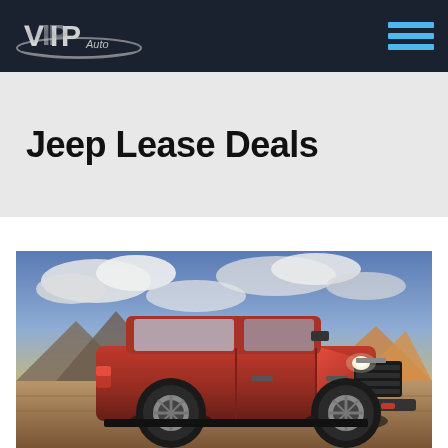VIP Auto — navigation bar with logo and hamburger menu
Jeep Lease Deals
[Figure (photo): Red Jeep Grand Cherokee SUV photographed outdoors against a dramatic sky with mountains in background]